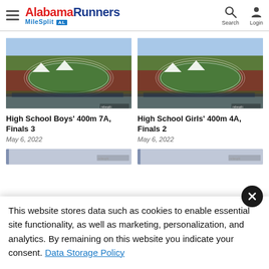AlabamaRunners MileSplit AL — Search Login
[Figure (screenshot): Track and field event aerial view — High School Boys 400m 7A Finals 3]
High School Boys' 400m 7A, Finals 3
May 6, 2022
[Figure (screenshot): Track and field event aerial view — High School Girls 400m 4A Finals 2]
High School Girls' 400m 4A, Finals 2
May 6, 2022
This website stores data such as cookies to enable essential site functionality, as well as marketing, personalization, and analytics. By remaining on this website you indicate your consent. Data Storage Policy